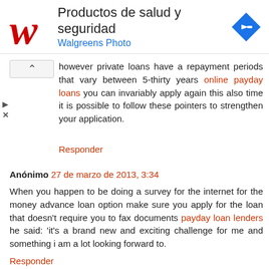[Figure (screenshot): Walgreens ad banner with logo, 'Productos de salud y seguridad' title, 'Walgreens Photo' subtitle, and navigation icon]
however private loans have a repayment periods that vary between 5-thirty years online payday loans you can invariably apply again this also time it is possible to follow these pointers to strengthen your application.
Responder
Anónimo 27 de marzo de 2013, 3:34
When you happen to be doing a survey for the internet for the money advance loan option make sure you apply for the loan that doesn't require you to fax documents payday loan lenders he said: 'it's a brand new and exciting challenge for me and something i am a lot looking forward to.
Responder
Anónimo 27 de marzo de 2013, 11:38
Hello there. I do believe your web site might be having